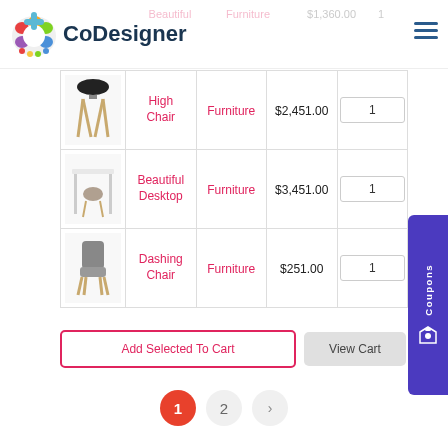[Figure (logo): CoDesigner logo with colorful paint palette icon and text 'CoDesigner']
| Image | Name | Category | Price | Qty |
| --- | --- | --- | --- | --- |
| [chair image] | High Chair | Furniture | $2,451.00 | 1 |
| [desk image] | Beautiful Desktop | Furniture | $3,451.00 | 1 |
| [chair image] | Dashing Chair | Furniture | $251.00 | 1 |
Add Selected To Cart
View Cart
1  2  >